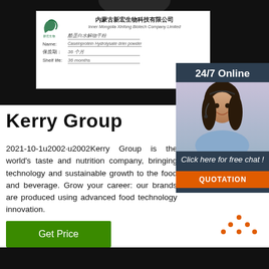[Figure (photo): Product label photo from Inner Mongolia Xinfong Biotech Company Limited showing Caseinprotein Hydrolysate drier powder, shelf life 36 months, on black background]
24/7 Online
[Figure (photo): Customer service representative woman with headset smiling]
Click here for free chat !
QUOTATION
Kerry Group
2021-10-1  Kerry Group is the world's taste and nutrition company, bringing technology and sustainable growth to the food and beverage. Grow your career: our brands are produced using advanced food technology innovation.
Get Price
[Figure (logo): TOP logo with orange dots arranged in a triangle above the word TOP in orange]
[Figure (photo): Bottom dark strip photo]